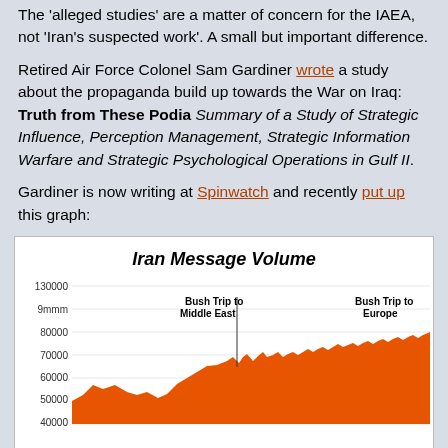The 'alleged studies' are a matter of concern for the IAEA, not 'Iran's suspected work'. A small but important difference.
Retired Air Force Colonel Sam Gardiner wrote a study about the propaganda build up towards the War on Iraq: Truth from These Podia Summary of a Study of Strategic Influence, Perception Management, Strategic Information Warfare and Strategic Psychological Operations in Gulf II.
Gardiner is now writing at Spinwatch and recently put up this graph:
[Figure (area-chart): Area chart showing Iran message volume over time, with annotations for Bush Trip to Middle East and Bush Trip to Europe. Values rise from around 55000 at left to approximately 85000 at right, with a peak near 80000 in the middle section.]